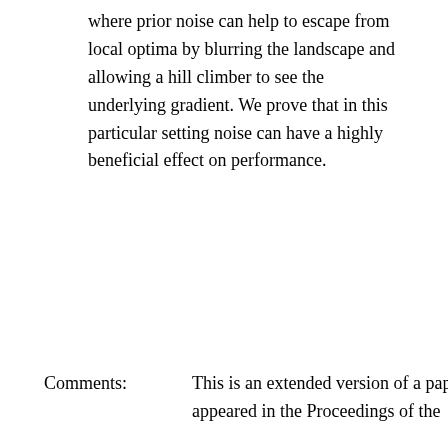where prior noise can help to escape from local optima by blurring the landscape and allowing a hill climber to see the underlying gradient. We prove that in this particular setting noise can have a highly beneficial effect on performance.
Comments: This is an extended version of a paper that appeared in the Proceedings of the